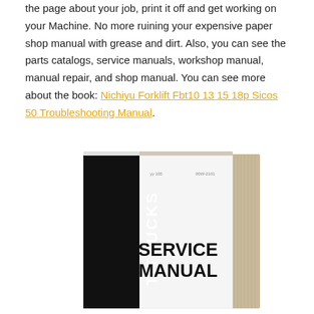the page about your job, print it off and get working on your Machine. No more ruining your expensive paper shop manual with grease and dirt. Also, you can see the parts catalogs, service manuals, workshop manual, manual repair, and shop manual. You can see more about the book: Nichiyu Forklift Fbt10 13 15 18p Sicos 50 Troubleshooting Manual.
[Figure (photo): Photo of a SERVICE MANUAL binder/book for forklift trucks, shown at an angle with black spine reading 'T TRUCKS' vertically in white text, white cover with 'SERVICE MANUAL' in large bold black text, part numbers 'yy 105' and '00W-2101' visible]